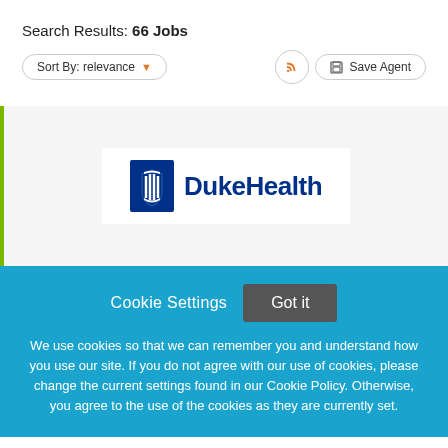Search Results: 66 Jobs
Sort By: relevance
[Figure (logo): DukeHealth logo — blue shield icon with white torch and stripes, followed by bold 'DukeHealth' text in dark blue]
Cookie Settings
Got it
We use cookies so that we can remember you and understand how you use our site. If you do not agree with our use of cookies, please change the current settings found in our Cookie Policy. Otherwise, you agree to the use of the cookies as they are currently set.